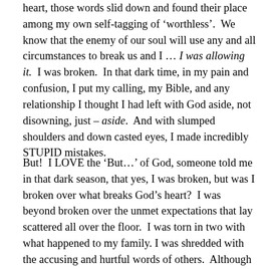heart, those words slid down and found their place among my own self-tagging of ‘worthless’.  We know that the enemy of our soul will use any and all circumstances to break us and I … I was allowing it.  I was broken.  In that dark time, in my pain and confusion, I put my calling, my Bible, and any relationship I thought I had left with God aside, not disowning, just – aside.  And with slumped shoulders and down casted eyes, I made incredibly STUPID mistakes.
But!  I LOVE the ‘But…’ of God, someone told me in that dark season, that yes, I was broken, but was I broken over what breaks God’s heart?  I was beyond broken over the unmet expectations that lay scattered all over the floor.  I was torn in two with what happened to my family. I was shredded with the accusing and hurtful words of others.  Although all valid, it wasn’t until I realized I needed to be broken over my ‘response’.  Life is tough, life is hard, I just assumed because I